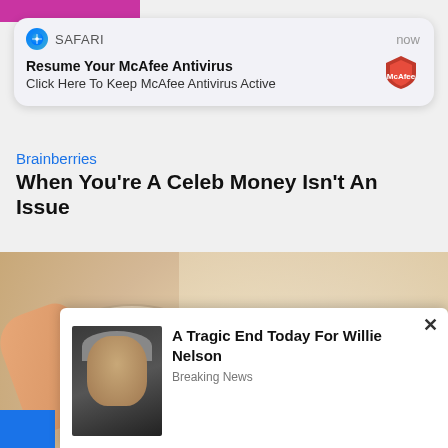[Figure (screenshot): Safari browser notification: 'Resume Your McAfee Antivirus — Click Here To Keep McAfee Antivirus Active' with McAfee shield logo]
Brainberries
When You're A Celeb Money Isn't An Issue
[Figure (photo): Photo of a hand/finger touching a bowl with sesame seeds or rice scattered around]
[Figure (screenshot): Popup ad: 'A Tragic End Today For Willie Nelson — Breaking News' with photo of elderly man]